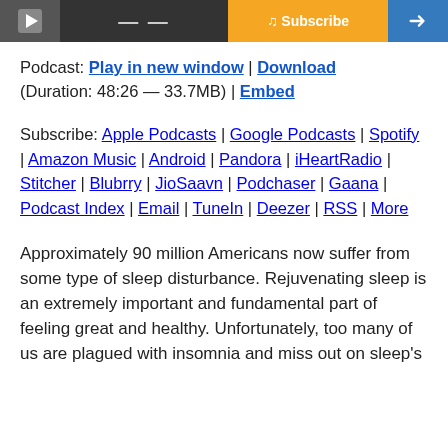[Figure (screenshot): Podcast player header bar with play icon, dash/menu icon, orange Subscribe button, and blue arrow icon]
Podcast: Play in new window | Download
(Duration: 48:26 — 33.7MB) | Embed
Subscribe: Apple Podcasts | Google Podcasts | Spotify | Amazon Music | Android | Pandora | iHeartRadio | Stitcher | Blubrry | JioSaavn | Podchaser | Gaana | Podcast Index | Email | TuneIn | Deezer | RSS | More
Approximately 90 million Americans now suffer from some type of sleep disturbance. Rejuvenating sleep is an extremely important and fundamental part of feeling great and healthy. Unfortunately, too many of us are plagued with insomnia and miss out on sleep's